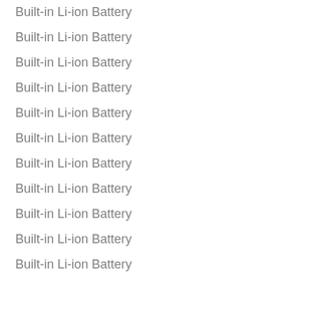Built-in Li-ion Battery
Built-in Li-ion Battery
Built-in Li-ion Battery
Built-in Li-ion Battery
Built-in Li-ion Battery
Built-in Li-ion Battery
Built-in Li-ion Battery
Built-in Li-ion Battery
Built-in Li-ion Battery
Built-in Li-ion Battery
Built-in Li-ion Battery